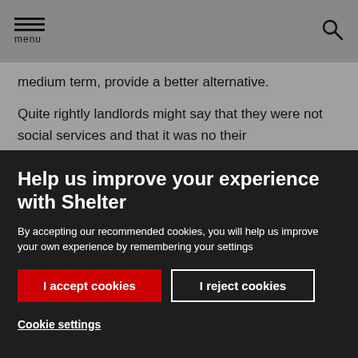menu
medium term, provide a better alternative.

Quite rightly landlords might say that they were not social services and that it was no their
Help us improve your experience with Shelter
By accepting our recommended cookies, you will help us improve your own experience by remembering your settings
I accept cookies
I reject cookies
Cookie settings